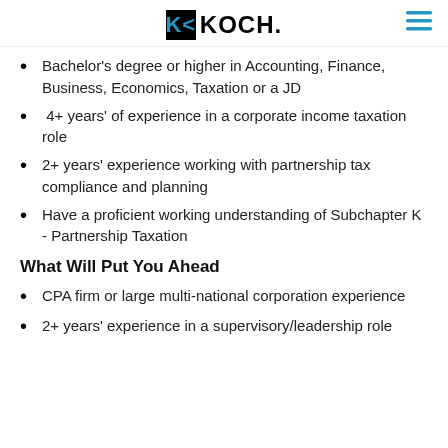KOCH.
Bachelor's degree or higher in Accounting, Finance, Business, Economics, Taxation or a JD
4+ years' of experience in a corporate income taxation role
2+ years' experience working with partnership tax compliance and planning
Have a proficient working understanding of Subchapter K - Partnership Taxation
What Will Put You Ahead
CPA firm or large multi-national corporation experience
2+ years' experience in a supervisory/leadership role